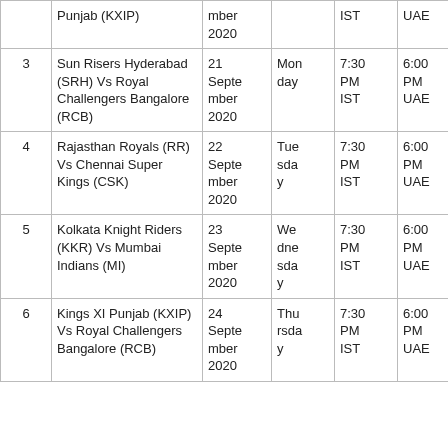| # | Match | Date | Day | Time (IST) | Time (UAE) | Venue |
| --- | --- | --- | --- | --- | --- | --- |
|  | Punjab (KXIP) | mber 2020 |  | IST | UAE |  |
| 3 | Sun Risers Hyderabad (SRH) Vs Royal Challengers Bangalore (RCB) | 21 September 2020 | Monday | 7:30 PM IST | 6:00 PM UAE | DUBAI |
| 4 | Rajasthan Royals (RR) Vs Chennai Super Kings (CSK) | 22 September 2020 | Tuesday | 7:30 PM IST | 6:00 PM UAE | SHARJAH |
| 5 | Kolkata Knight Riders (KKR) Vs Mumbai Indians (MI) | 23 September 2020 | Wednesday | 7:30 PM IST | 6:00 PM UAE | ABU DHABI |
| 6 | Kings XI Punjab (KXIP) Vs Royal Challengers Bangalore (RCB) | 24 September 2020 | Thursday | 7:30 PM IST | 6:00 PM UAE | DUBAI |